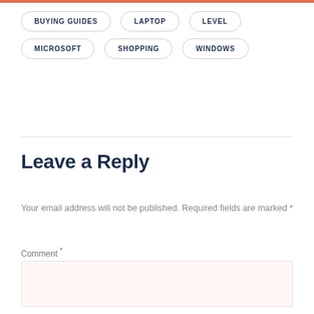BUYING GUIDES
LAPTOP
LEVEL
MICROSOFT
SHOPPING
WINDOWS
Leave a Reply
Your email address will not be published. Required fields are marked *
Comment *